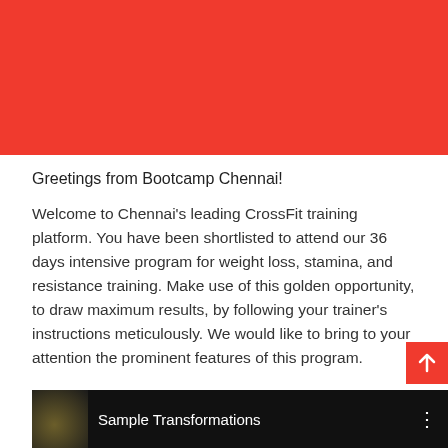[Figure (photo): Red banner / header background]
Greetings from Bootcamp Chennai!
Welcome to Chennai's leading CrossFit training platform. You have been shortlisted to attend our 36 days intensive program for weight loss, stamina, and resistance training. Make use of this golden opportunity, to draw maximum results, by following your trainer's instructions meticulously. We would like to bring to your attention the prominent features of this program.
[Figure (screenshot): Video thumbnail strip at bottom showing 'Sample Transformations' with a dark background and three-dot menu icon]